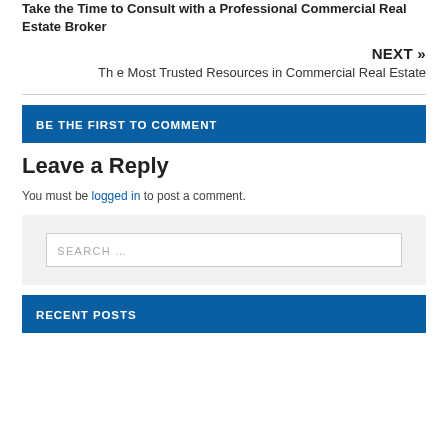Take the Time to Consult with a Professional Commercial Real Estate Broker
NEXT » The Most Trusted Resources in Commercial Real Estate
BE THE FIRST TO COMMENT
Leave a Reply
You must be logged in to post a comment.
[Figure (other): Search box with placeholder text 'SEARCH ...']
RECENT POSTS